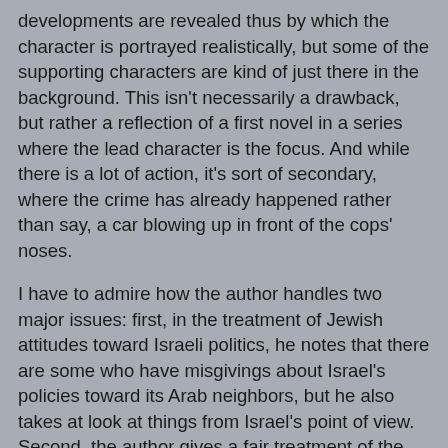developments are revealed thus by which the character is portrayed realistically, but some of the supporting characters are kind of just there in the background. This isn't necessarily a drawback, but rather a reflection of a first novel in a series where the lead character is the focus.   And while there is a lot of action, it's sort of secondary, where the crime has already happened rather than say, a car blowing up in front of the cops' noses.
I have to admire how the author handles two major issues: first, in the treatment of Jewish attitudes toward Israeli politics, he notes that there are some who have misgivings about Israel's policies toward its Arab neighbors,  but he also takes at look at things from Israel's point of view.  Second, the author gives a fair treatment of the Muslims in this novel, especially when the police turn to the Imam of the local Islamic center for assistance, rather than accusation.
I do have a couple of niggles: first, there is very little in the way of sense of place here.  Maybe it's just me, but after all of the Scandinavian crime fiction I've read, very little of it takes place in Finland, so it would be nice if the reader was able to absorb some of the local scene.  A sense of place